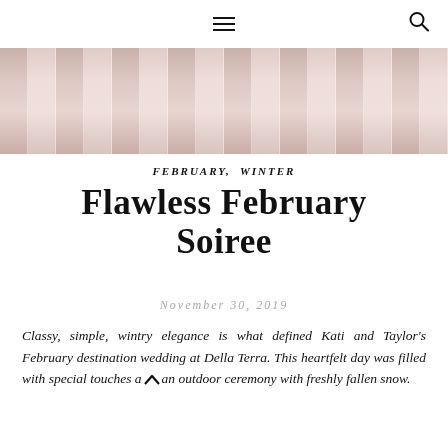≡  🔍
[Figure (photo): Close-up photo of hanging blush pink bridesmaids dresses with satin details, showing fabric folds]
FEBRUARY, WINTER
Flawless February Soiree
NOVEMBER 30, 2019
Classy, simple, wintry elegance is what defined Kati and Taylor's February destination wedding at Della Terra. This heartfelt day was filled with special touches and an outdoor ceremony with freshly fallen snow.